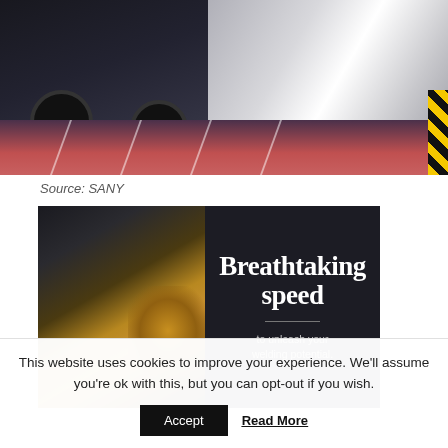[Figure (photo): Photo of large industrial trucks/cement mixer vehicles parked on a red/dark paved surface with white parking lines]
Source: SANY
[Figure (photo): Advertisement banner with dark background showing industrial welding/laser cutting machinery on left, and text 'Breathtaking speed — to unleash your welding potential.' on right]
This website uses cookies to improve your experience. We'll assume you're ok with this, but you can opt-out if you wish.
Accept   Read More